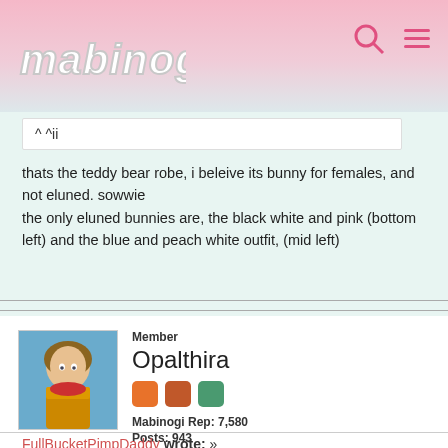mabinogi
^ ^ii
thats the teddy bear robe, i beleive its bunny for females, and not eluned. sowwie
the only eluned bunnies are, the black white and pink (bottom left) and the blue and peach white outfit, (mid left)
Member
Opalthira
Mabinogi Rep: 7,580
Posts: 943
JUNE 8, 2017
FullBucketPimpDaddy wrote: »